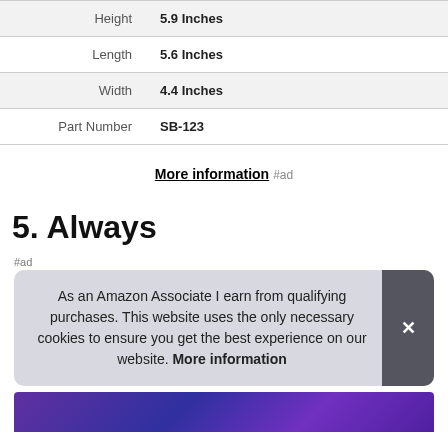| Height | 5.9 Inches |
| Length | 5.6 Inches |
| Width | 4.4 Inches |
| Part Number | SB-123 |
More information #ad
5. Always
#ad
As an Amazon Associate I earn from qualifying purchases. This website uses the only necessary cookies to ensure you get the best experience on our website. More information